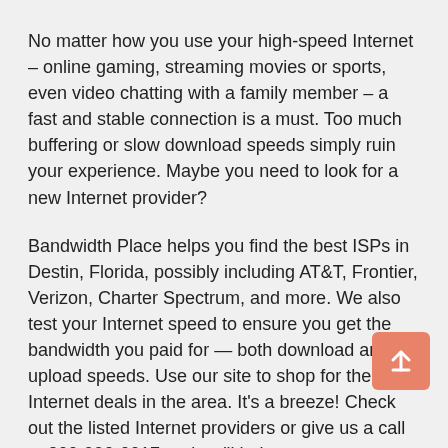No matter how you use your high-speed Internet – online gaming, streaming movies or sports, even video chatting with a family member – a fast and stable connection is a must. Too much buffering or slow download speeds simply ruin your experience. Maybe you need to look for a new Internet provider?
Bandwidth Place helps you find the best ISPs in Destin, Florida, possibly including AT&T, Frontier, Verizon, Charter Spectrum, and more. We also test your Internet speed to ensure you get the bandwidth you paid for — both download and upload speeds. Use our site to shop for the top Internet deals in the area. It's a breeze! Check out the listed Internet providers or give us a call at 800-990-0017 and we'll help.
Browse our list of the top local Internet providers, their